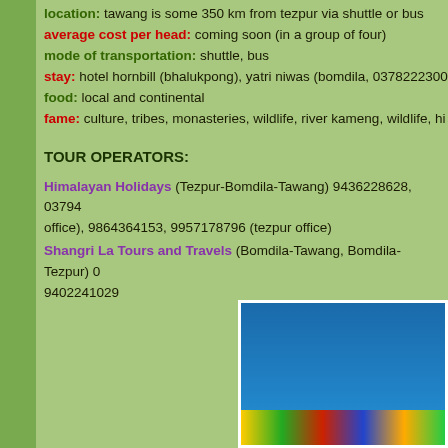location: tawang is some 350 km from tezpur via shuttle or bus
average cost per head: coming soon (in a group of four)
mode of transportation: shuttle, bus
stay: hotel hornbill (bhalukpong), yatri niwas (bomdila, 03782223005...
food: local and continental
fame: culture, tribes, monasteries, wildlife, river kameng, wildlife, hi...
TOUR OPERATORS:
Himalayan Holidays (Tezpur-Bomdila-Tawang) 9436228628, 03794... office), 9864364153, 9957178796 (tezpur office)
Shangri La Tours and Travels (Bomdila-Tawang, Bomdila-Tezpur) 0... 9402241029
[Figure (photo): Photo of colorful prayer flags against a bright blue sky]